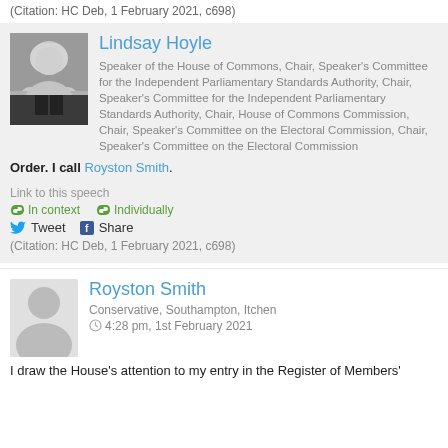(Citation: HC Deb, 1 February 2021, c698)
Lindsay Hoyle
Speaker of the House of Commons, Chair, Speaker's Committee for the Independent Parliamentary Standards Authority, Chair, Speaker's Committee for the Independent Parliamentary Standards Authority, Chair, House of Commons Commission, Chair, Speaker's Committee on the Electoral Commission, Chair, Speaker's Committee on the Electoral Commission
Order. I call Royston Smith.
Link to this speech
In context
Individually
Tweet
Share
(Citation: HC Deb, 1 February 2021, c698)
Royston Smith
Conservative, Southampton, Itchen
4:28 pm, 1st February 2021
I draw the House's attention to my entry in the Register of Members'